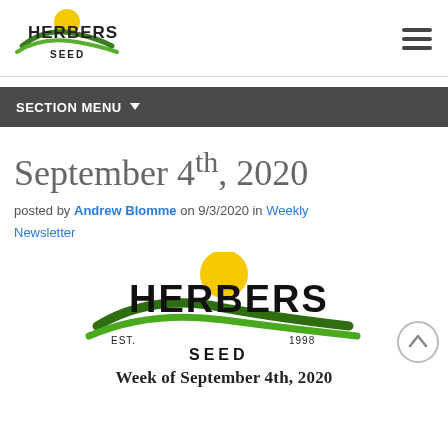[Figure (logo): Herbers Seed logo with yellow sun and green swoosh, text HERBERS SEED]
[Figure (other): Hamburger menu icon (three horizontal lines)]
SECTION MENU ▼
September 4th, 2020
posted by Andrew Blomme on 9/3/2020 in Weekly Newsletter
[Figure (logo): Herbers Seed large logo with EST. 1998, yellow sun, green swoosh, text HERBERS SEED]
Week of September 4th, 2020